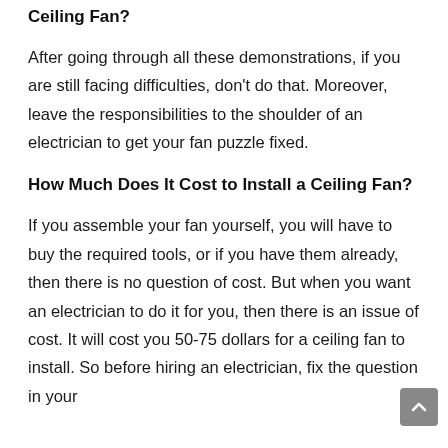Ceiling Fan?
After going through all these demonstrations, if you are still facing difficulties, don't do that. Moreover, leave the responsibilities to the shoulder of an electrician to get your fan puzzle fixed.
How Much Does It Cost to Install a Ceiling Fan?
If you assemble your fan yourself, you will have to buy the required tools, or if you have them already, then there is no question of cost. But when you want an electrician to do it for you, then there is an issue of cost. It will cost you 50-75 dollars for a ceiling fan to install. So before hiring an electrician, fix the question in your